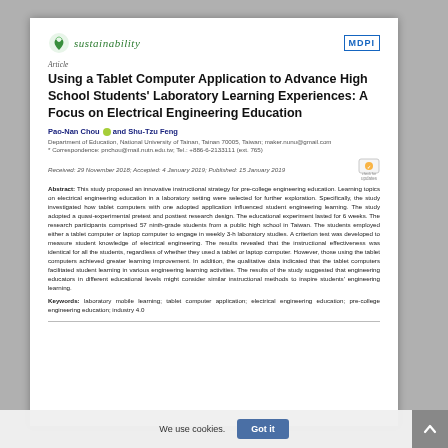[Figure (logo): Sustainability journal logo with green leaf icon and italic green text 'sustainability', plus MDPI publisher logo on the right]
Article
Using a Tablet Computer Application to Advance High School Students' Laboratory Learning Experiences: A Focus on Electrical Engineering Education
Pao-Nan Chou and Shu-Tzu Feng
Department of Education, National University of Tainan, Tainan 70005, Taiwan; maker.nunu@gmail.com
* Correspondence: pnchou@mail.nutn.edu.tw; Tel.: +886-6-2133111 (ext. 765)
Received: 29 November 2018; Accepted: 4 January 2019; Published: 15 January 2019
Abstract: This study proposed an innovative instructional strategy for pre-college engineering education. Learning topics on electrical engineering education in a laboratory setting were selected for further exploration. Specifically, the study investigated how tablet computers with one adopted application influenced student engineering learning. The study adopted a quasi-experimental pretest and posttest research design. The educational experiment lasted for 6 weeks. The research participants comprised 57 ninth-grade students from a public high school in Taiwan. The students employed either a tablet computer or laptop computer to engage in weekly 3-h laboratory studies. A criterion test was developed to measure student knowledge of electrical engineering. The results revealed that the instructional effectiveness was identical for all the students, regardless of whether they used a tablet or laptop computer. However, those using the tablet computers achieved greater learning improvement. In addition, the qualitative data indicated that the tablet computers facilitated student learning in various engineering learning activities. The results of the study suggested that engineering educators in different educational levels might consider similar instructional methods to inspire students' engineering learning.
Keywords: laboratory mobile learning; tablet computer application; electrical engineering education; pre-college engineering education; industry 4.0